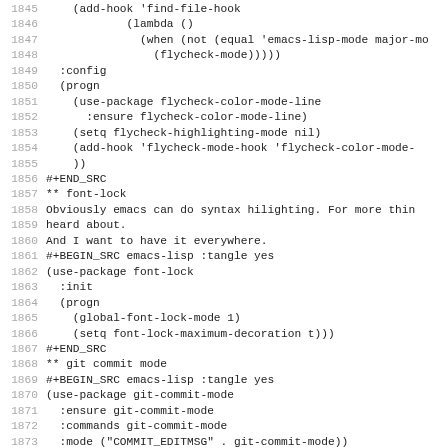Code listing lines 1845-1876, Emacs Lisp configuration with flycheck, font-lock, git-commit-mode, and git rebase mode sections